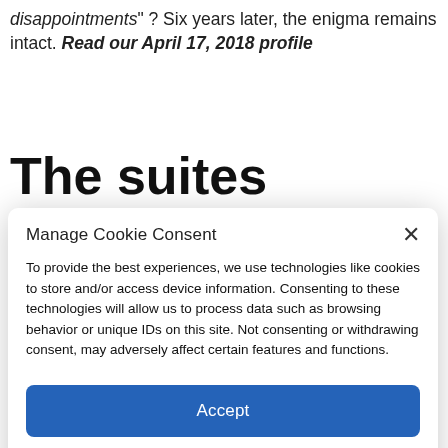disappointments" ? Six years later, the enigma remains intact. Read our April 17, 2018 profile
The suites ahead of Elon Musk
Manage Cookie Consent
To provide the best experiences, we use technologies like cookies to store and/or access device information. Consenting to these technologies will allow us to process data such as browsing behavior or unique IDs on this site. Not consenting or withdrawing consent, may adversely affect certain features and functions.
Accept
Cookie Policy